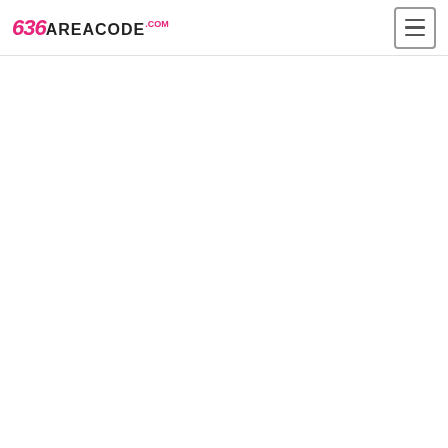636areacode.com — navigation header with logo and menu button